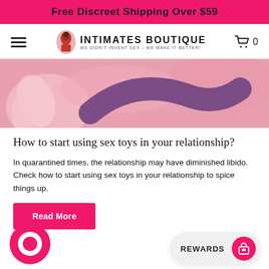Free Discreet Shipping Over $59
[Figure (logo): Intimates Boutique logo with tagline 'We Didn't Invent Sex - We Make It Better!']
[Figure (photo): Close-up pink background with purple curved product]
How to start using sex toys in your relationship?
In quarantined times, the relationship may have diminished libido. Check how to start using sex toys in your relationship to spice things up.
Read More